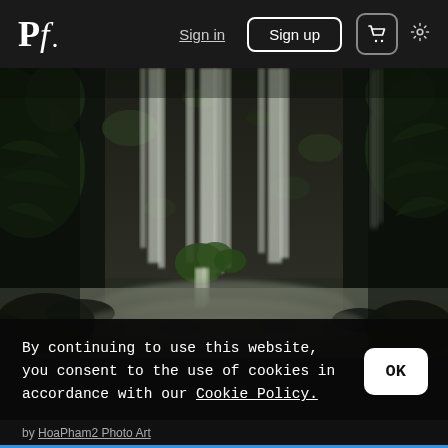Pf. Sign in  Sign up  [cart] [settings]
[Figure (photo): Long-exposure photograph of a multi-tiered waterfall cascading down dark mossy rock faces in a lush forest setting, with ferns and green foliage visible on both sides and at the base. Silky white water streams contrast with the dark rocky background.]
By continuing to use this website, you consent to the use of cookies in accordance with our Cookie Policy.
OK
by HoaPham2 Photo Art